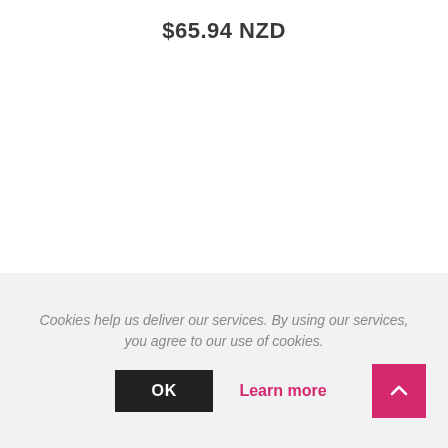$65.94 NZD
[Figure (other): Instagram embed section with border box and INSTAGRAM label partially visible]
Cookies help us deliver our services. By using our services, you agree to our use of cookies.
OK  Learn more